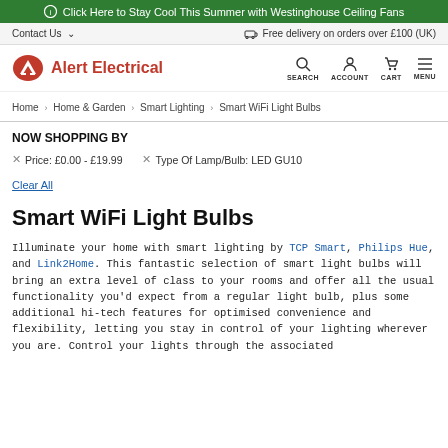ⓘ Click Here to Stay Cool This Summer with Westinghouse Ceiling Fans
Contact Us ∨   🚚 Free delivery on orders over £100 (UK)
Alert Electrical — SEARCH ACCOUNT CART MENU
Home › Home & Garden › Smart Lighting › Smart WiFi Light Bulbs
NOW SHOPPING BY
× Price: £0.00 - £19.99   × Type Of Lamp/Bulb: LED GU10
Clear All
Smart WiFi Light Bulbs
Illuminate your home with smart lighting by TCP Smart, Philips Hue, and Link2Home. This fantastic selection of smart light bulbs will bring an extra level of class to your rooms and offer all the usual functionality you'd expect from a regular light bulb, plus some additional hi-tech features for optimised convenience and flexibility, letting you stay in control of your lighting wherever you are. Control your lights through the associated